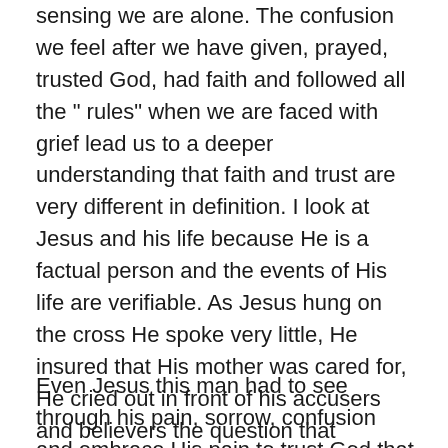sensing we are alone. The confusion we feel after we have given, prayed, trusted God, had faith and followed all the "rules" when we are faced with grief lead us to a deeper understanding that faith and trust are very different in definition. I look at Jesus and his life because He is a factual person and the events of His life are verifiable. As Jesus hung on the cross He spoke very little, He insured that His mother was cared for, He cried out in front of his accusers and believers the question that expressed his great doubt in greatest moment of grief that He felt He was abandoned by His Heavenly Father God, and finally at the end withHis last breath Jesus held fast to His Divine purpose and vision by saying, " Father forgive them for they know not what they do".
Even Jesus this man had to see through his pain, sorrow, confusion and embrace His pain to trust God that the